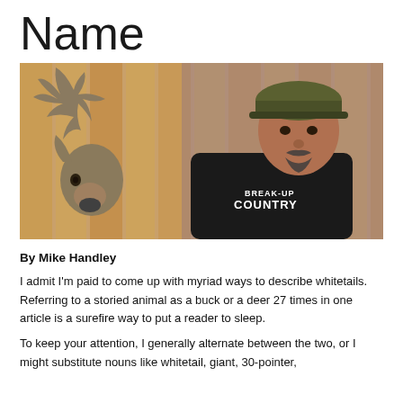Name
[Figure (photo): A man wearing a camouflage cap and a black 'BREAK-UP COUNTRY' t-shirt posing next to a large whitetail deer mount, with wood-paneled wall in the background.]
By Mike Handley
I admit I'm paid to come up with myriad ways to describe whitetails. Referring to a storied animal as a buck or a deer 27 times in one article is a surefire way to put a reader to sleep.
To keep your attention, I generally alternate between the two, or I might substitute nouns like whitetail, giant, 30-pointer,